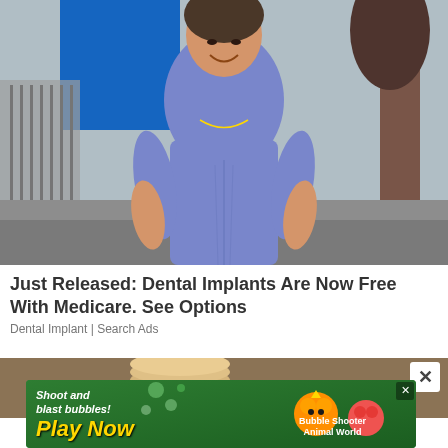[Figure (photo): Young woman smiling, wearing a grey/blue fitted short-sleeve top with ruching at the waist, a gold necklace, standing outdoors in front of a metal fence and a tree. Urban sidewalk setting.]
Just Released: Dental Implants Are Now Free With Medicare. See Options
Dental Implant | Search Ads
[Figure (photo): Partial view of a second advertisement image with a brown/tan background, showing what appears to be stacked coins or circular objects.]
[Figure (screenshot): Mobile game banner advertisement with green background. Left side shows text 'Shoot and blast bubbles! Play Now' in yellow italic text. Right side shows cartoon characters and text 'Bubble Shooter Animal World'. Has an X close button in the top right corner.]